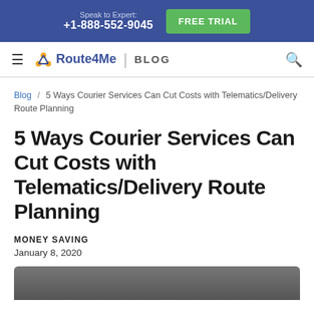Speak to Expert: +1-888-552-9045 | FREE TRIAL
[Figure (logo): Route4Me Blog navigation bar with hamburger menu, Route4Me logo, BLOG label, and search icon]
Blog / 5 Ways Courier Services Can Cut Costs with Telematics/Delivery Route Planning
5 Ways Courier Services Can Cut Costs with Telematics/Delivery Route Planning
MONEY SAVING
January 8, 2020
[Figure (photo): Article header image, dark gray background, partially visible at bottom of page]